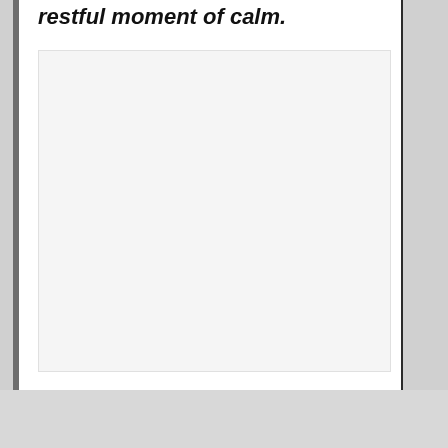restful moment of calm.
[Figure (photo): Light gray placeholder image area within a white document page]
[Figure (other): Red READ MORE button with white bold text on a gray background strip, with 'on Newz Online' text to the right]